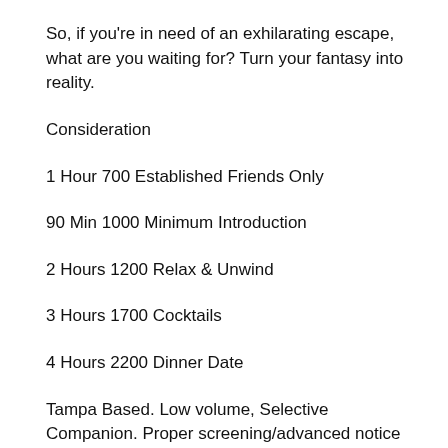So, if you're in need of an exhilarating escape, what are you waiting for? Turn your fantasy into reality.
Consideration
1 Hour 700 Established Friends Only
90 Min 1000 Minimum Introduction
2 Hours 1200 Relax & Unwind
3 Hours 1700 Cocktails
4 Hours 2200 Dinner Date
Tampa Based. Low volume, Selective Companion. Proper screening/advanced notice Required via Booking Form.